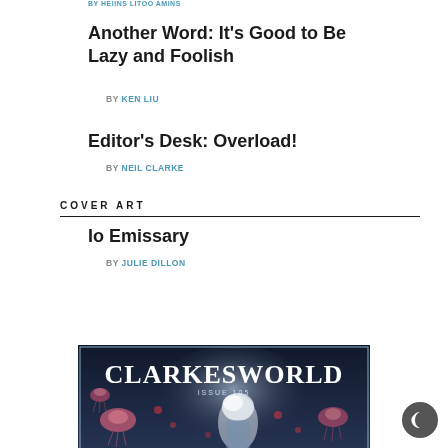BY HEIINS LITOO AMINS
Another Word: It’s Good to Be Lazy and Foolish
BY KEN LIU
Editor’s Desk: Overload!
BY NEIL CLARKE
COVER ART
Io Emissary
BY JULIE DILLON
[Figure (illustration): Clarkesworld Issue 105 magazine cover showing jellyfish-like creatures in a fantasy/sci-fi underwater or space scene with a white-haired figure]